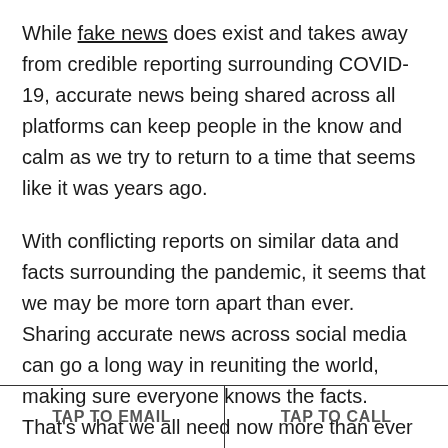While fake news does exist and takes away from credible reporting surrounding COVID-19, accurate news being shared across all platforms can keep people in the know and calm as we try to return to a time that seems like it was years ago.
With conflicting reports on similar data and facts surrounding the pandemic, it seems that we may be more torn apart than ever. Sharing accurate news across social media can go a long way in reuniting the world, making sure everyone knows the facts. That's what we all need now more than ever – the facts.
TAP TO EMAIL   TAP TO CALL